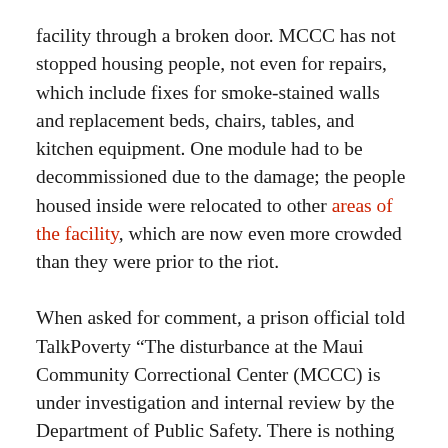facility through a broken door. MCCC has not stopped housing people, not even for repairs, which include fixes for smoke-stained walls and replacement beds, chairs, tables, and kitchen equipment. One module had to be decommissioned due to the damage; the people housed inside were relocated to other areas of the facility, which are now even more crowded than they were prior to the riot.
When asked for comment, a prison official told TalkPoverty “The disturbance at the Maui Community Correctional Center (MCCC) is under investigation and internal review by the Department of Public Safety. There is nothing further we will be discussing about the on-going investigation at this time.”